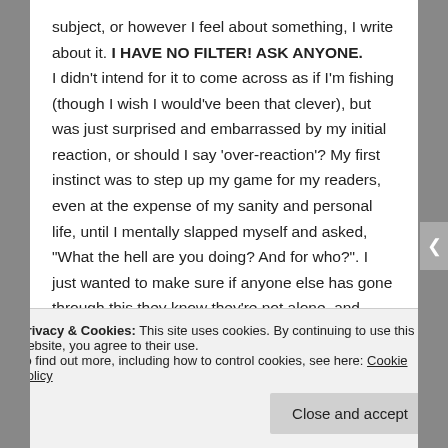subject, or however I feel about something, I write about it. I HAVE NO FILTER! ASK ANYONE.
I didn't intend for it to come across as if I'm fishing (though I wish I would've been that clever), but was just surprised and embarrassed by my initial reaction, or should I say 'over-reaction'? My first instinct was to step up my game for my readers, even at the expense of my sanity and personal life, until I mentally slapped myself and asked, "What the hell are you doing? And for who?". I just wanted to make sure if anyone else has gone through this they know they're not alone, and well...they don't and shouldn't have to because
Privacy & Cookies: This site uses cookies. By continuing to use this website, you agree to their use.
To find out more, including how to control cookies, see here: Cookie Policy
Close and accept